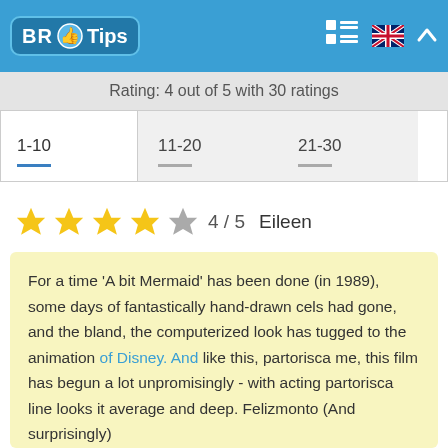BR Tips
Rating: 4 out of 5 with 30 ratings
| 1-10 | 11-20 | 21-30 |
| --- | --- | --- |
★★★★☆ 4 / 5   Eileen
For a time 'A bit Mermaid' has been done (in 1989), some days of fantastically hand-drawn cels had gone, and the bland, the computerized look has tugged to the animation of Disney. And like this, partorisca me, this film has begun a lot unpromisingly - with acting partorisca line looks it average and deep. Felizmonto (And surprisingly)